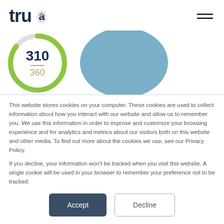trua [logo with hamburger menu]
[Figure (other): Score ring showing 310 out of 360 with a green circular progress ring, and a blue semicircle with a photo partially visible]
This website stores cookies on your computer. These cookies are used to collect information about how you interact with our website and allow us to remember you. We use this information in order to improve and customize your browsing experience and for analytics and metrics about our visitors both on this website and other media. To find out more about the cookies we use, see our Privacy Policy.
If you decline, your information won't be tracked when you visit this website. A single cookie will be used in your browser to remember your preference not to be tracked.
Accept   Decline